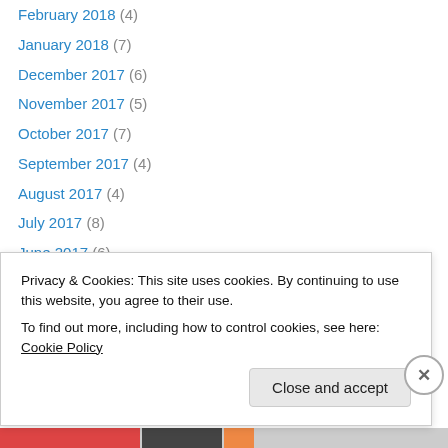February 2018 (4)
January 2018 (7)
December 2017 (6)
November 2017 (5)
October 2017 (7)
September 2017 (4)
August 2017 (4)
July 2017 (8)
June 2017 (6)
May 2017 (5)
April 2017 (5)
March 2017 (6)
February 2017 (4)
January 2017 (5)
Privacy & Cookies: This site uses cookies. By continuing to use this website, you agree to their use. To find out more, including how to control cookies, see here: Cookie Policy